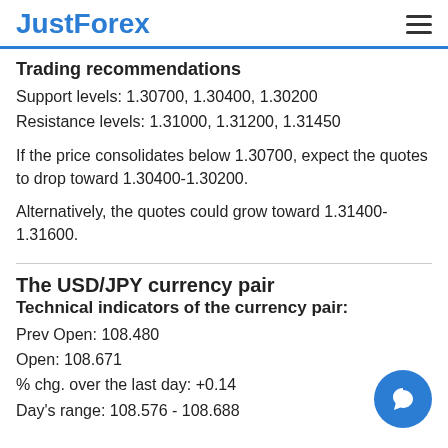JustForex
Trading recommendations
Support levels: 1.30700, 1.30400, 1.30200
Resistance levels: 1.31000, 1.31200, 1.31450
If the price consolidates below 1.30700, expect the quotes to drop toward 1.30400-1.30200.
Alternatively, the quotes could grow toward 1.31400-1.31600.
The USD/JPY currency pair
Technical indicators of the currency pair:
Prev Open: 108.480
Open: 108.671
% chg. over the last day: +0.14
Day's range: 108.576 - 108.688